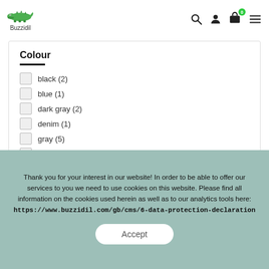[Figure (logo): Buzzidil crocodile logo with text 'Buzzidil' below]
Colour
black (2)
blue (1)
dark gray (2)
denim (1)
gray (5)
mint (1)
silver (1)
white (1)
Thank you for your interest in our website! In order to be able to offer our services to you we need to use cookies on this website. Please find all information on the cookies used herein as well as to our analytics tools here: https://www.buzzidil.com/gb/cms/6-data-protection-declaration
Accept